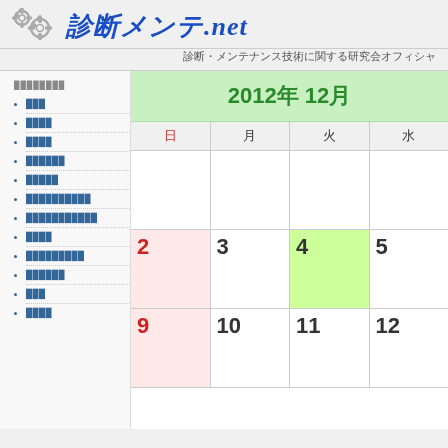診断メンテ.net — 診断・メンテナンス技術に関する研究会オフィシャル
メニュー項目一覧 (sidebar nav items)
[Figure (other): Calendar for December 2012 showing dates 2-12 with Sunday column highlighted pink, date 4 highlighted green (today), and weekday header row]
2012年 12月